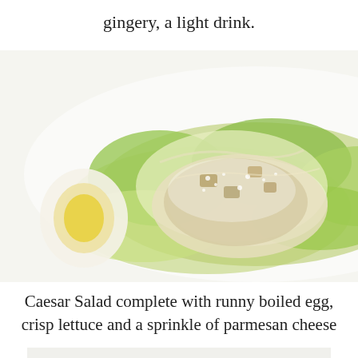gingery, a light drink.
[Figure (photo): Close-up photo of a Caesar Salad with runny boiled egg, crisp lettuce and parmesan cheese, with KUMAGCOW watermark logo in the bottom right corner.]
Caesar Salad complete with runny boiled egg, crisp lettuce and a sprinkle of parmesan cheese
[Figure (photo): Partial bottom image showing food items, cropped at the bottom of the page.]